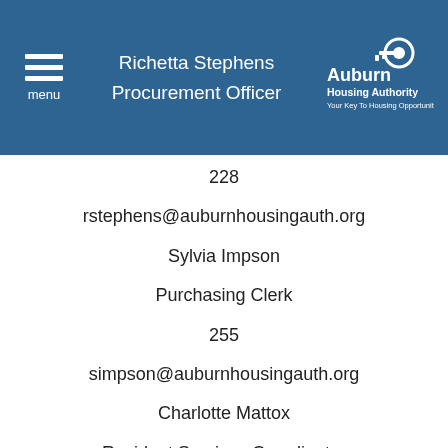Richetta Stephens | Procurement Officer
228
rstephens@auburnhousingauth.org
Sylvia Impson
Purchasing Clerk
255
simpson@auburnhousingauth.org
Charlotte Mattox
Resident Services Coordinator
230
cmattox@auburnhousingauth.org